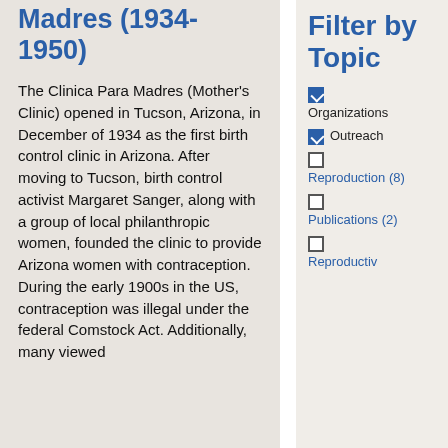Madres (1934-1950)
The Clinica Para Madres (Mother's Clinic) opened in Tucson, Arizona, in December of 1934 as the first birth control clinic in Arizona. After moving to Tucson, birth control activist Margaret Sanger, along with a group of local philanthropic women, founded the clinic to provide Arizona women with contraception. During the early 1900s in the US, contraception was illegal under the federal Comstock Act. Additionally, many viewed contraception as
Filter by Topic
Organizations
Outreach
Reproduction (8)
Publications (2)
Reproductiv